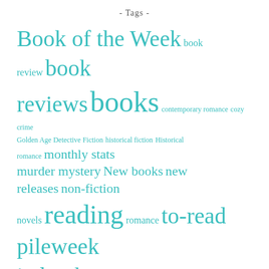- Tags -
Book of the Week book review book reviews books contemporary romance cozy crime Golden Age Detective Fiction historical fiction Historical romance monthly stats murder mystery New books new releases non-fiction novels reading romance to-read pile week in books women's fiction
- Recent Posts -
Book of the Week: Piglettes
The Week in Books: August 22 – August 28